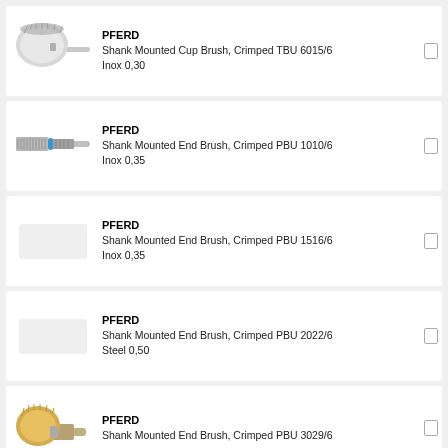[Figure (photo): Shank mounted cup brush with crimped wire, PFERD TBU 6015/6 Inox 0,30]
PFERD
Shank Mounted Cup Brush, Crimped TBU 6015/6 Inox 0,30
[Figure (photo): Shank mounted end brush with crimped wire and blue ring, PFERD PBU 1010/6 Inox 0,35]
PFERD
Shank Mounted End Brush, Crimped PBU 1010/6 Inox 0,35
PFERD
Shank Mounted End Brush, Crimped PBU 1516/6 Inox 0,35
PFERD
Shank Mounted End Brush, Crimped PBU 2022/6 Steel 0,50
[Figure (photo): Shank mounted end brush with brass/golden wire, PFERD PBU 3029/6]
PFERD
Shank Mounted End Brush, Crimped PBU 3029/6